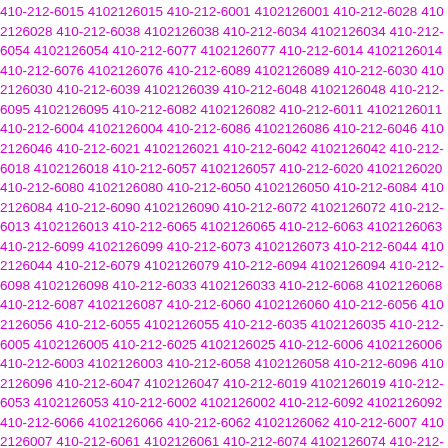410-212-6015 4102126015 410-212-6001 4102126001 410-212-6028 4102126028 410-212-6038 4102126038 410-212-6034 4102126034 410-212-6054 4102126054 410-212-6077 4102126077 410-212-6014 4102126014 410-212-6076 4102126076 410-212-6089 4102126089 410-212-6030 4102126030 410-212-6039 4102126039 410-212-6048 4102126048 410-212-6095 4102126095 410-212-6082 4102126082 410-212-6011 4102126011 410-212-6004 4102126004 410-212-6086 4102126086 410-212-6046 4102126046 410-212-6021 4102126021 410-212-6042 4102126042 410-212-6018 4102126018 410-212-6057 4102126057 410-212-6020 4102126020 410-212-6080 4102126080 410-212-6050 4102126050 410-212-6084 4102126084 410-212-6090 4102126090 410-212-6072 4102126072 410-212-6013 4102126013 410-212-6065 4102126065 410-212-6063 4102126063 410-212-6099 4102126099 410-212-6073 4102126073 410-212-6044 4102126044 410-212-6079 4102126079 410-212-6094 4102126094 410-212-6098 4102126098 410-212-6033 4102126033 410-212-6068 4102126068 410-212-6087 4102126087 410-212-6060 4102126060 410-212-6056 4102126056 410-212-6055 4102126055 410-212-6035 4102126035 410-212-6005 4102126005 410-212-6025 4102126025 410-212-6006 4102126006 410-212-6003 4102126003 410-212-6058 4102126058 410-212-6096 4102126096 410-212-6047 4102126047 410-212-6019 4102126019 410-212-6053 4102126053 410-212-6002 4102126002 410-212-6092 4102126092 410-212-6066 4102126066 410-212-6062 4102126062 410-212-6007 4102126007 410-212-6061 4102126061 410-212-6074 4102126074 410-212-6022 4102126022 410-212-6024 4102126024 410-212-6088 4102126088 410-212-6075 4102126075